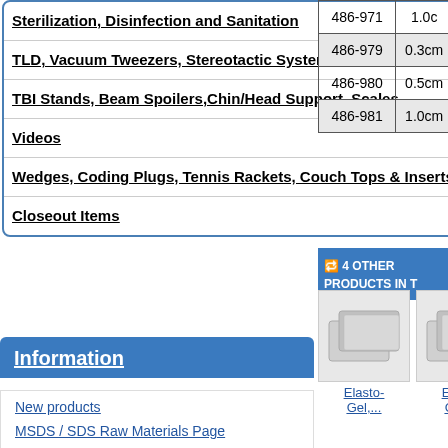Sterilization, Disinfection and Sanitation
TLD, Vacuum Tweezers, Stereotactic Systems
TBI Stands, Beam Spoilers,Chin/Head Support, Scales
Videos
Wedges, Coding Plugs, Tennis Rackets, Couch Tops & Inserts
Closeout Items
|  |  |
| --- | --- |
| 486-971 | 1.0c |
| 486-979 | 0.3cm |
| 486-980 | 0.5cm |
| 486-981 | 1.0cm |
4 OTHER PRODUCTS IN T
[Figure (photo): Elasto-Gel product thumbnail image showing flat gel sheets]
[Figure (photo): Elasto-Gel product thumbnail image showing flat gel sheets]
Elasto-Gel,...
Elasto-Gel,...
Information
New products
MSDS / SDS Raw Materials Page
PDF Catalog
Alloy Recycle Program
Terms and conditions
History
Custom Manufacturing